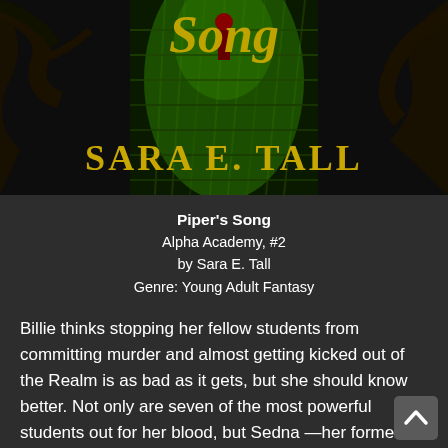[Figure (illustration): Book cover of 'Piper's Song' by Sara E. Tall showing a dark atmospheric scene with green glowing wooden bridge/dock, a figure standing on it, tree branches overhead, and the title 'Song' in gold/yellow cursive text at top and 'SARA E. TALL' in large gold serif letters at bottom.]
Piper's Song
Alpha Academy, #2
by Sara E. Tall
Genre: Young Adult Fantasy
Billie thinks stopping her fellow students from committing murder and almost getting kicked out of the Realm is as bad as it gets, but she should know better. Not only are seven of the most powerful students out for her blood, but Sedna —her former enemy turned ally turns her enemy again when Billie refuses a part in her